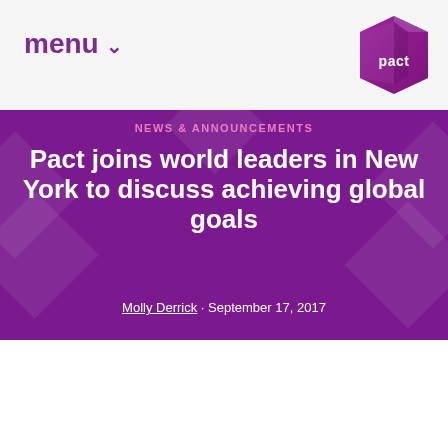menu ˅
[Figure (logo): Pact organization logo — hexagonal gem shape in purple/magenta with word 'pact' in white]
NEWS & ANNOUNCEMENTS
Pact joins world leaders in New York to discuss achieving global goals
Molly Derrick · September 17, 2017
[Figure (logo): The Global Goals For Sustainable Development logo with multi-colored SDG icons grid showing goals 1-12]
THE GLOBAL GOALS For Sustainable Development